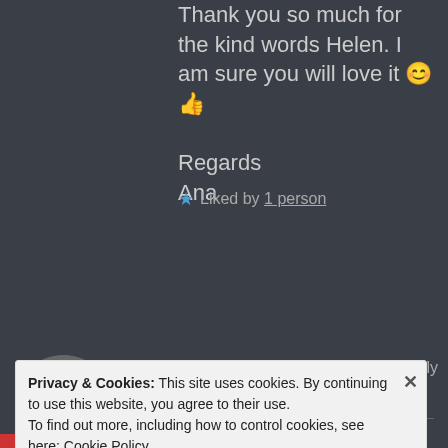Thank you so much for the kind words Helen. I am sure you will love it 😊 👍
Regards
Ana
★ Liked by 1 person
[Figure (photo): Circular avatar photo of Christy B, a woman with long reddish-brown hair and glasses, smiling]
CHRISTY B says:
November 30, 2017 at 1:03 am
↩ Reply
Privacy & Cookies: This site uses cookies. By continuing to use this website, you agree to their use.
To find out more, including how to control cookies, see here: Cookie Policy
Close and accept